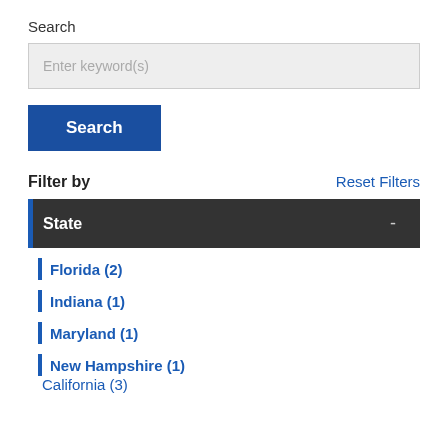Search
Enter keyword(s)
Search
Filter by
Reset Filters
State -
Florida (2)
Indiana (1)
Maryland (1)
New Hampshire (1)
California (3)